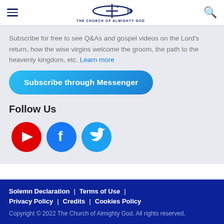THE CHURCH OF ALMIGHTY GOD
Subscribe for free to see Q&As and gospel videos on the Lord's return, how the wise virgins welcome the groom, the path to the heavenly kingdom, etc. Learn more
Subscribe through Messenger
Follow Us
[Figure (illustration): Social media icons: YouTube (red circle with play button), Facebook (blue circle with f), Twitter (light blue circle with bird)]
Solemn Declaration | Terms of Use | Privacy Policy | Credits | Cookies Policy
Copyright © 2022 The Church of Almighty God. All rights reserved.